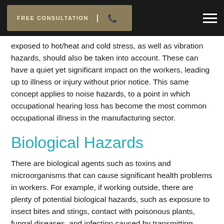FREE CONSULTATION | [phone]
exposed to hot/heat and cold stress, as well as vibration hazards, should also be taken into account. These can have a quiet yet significant impact on the workers, leading up to illness or injury without prior notice. This same concept applies to noise hazards, to a point in which occupational hearing loss has become the most common occupational illness in the manufacturing sector.
Biological Hazards
There are biological agents such as toxins and microorganisms that can cause significant health problems in workers. For example, if working outside, there are plenty of potential biological hazards, such as exposure to insect bites and stings, contact with poisonous plants, fungal diseases, and infection caused by transmitting agents. On the more obvious side of biological hazards, you have healthcare professionals, for they are at risk of exposure to blood-borne illnesses and emerging infectious